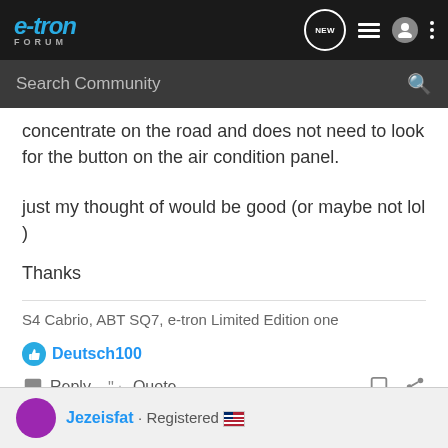e-tron FORUM [navigation icons]
Search Community
concentrate on the road and does not need to look for the button on the air condition panel.
just my thought of would be good (or maybe not lol )
Thanks
S4 Cabrio, ABT SQ7, e-tron Limited Edition one
Deutsch100
Reply  Quote
Jezeisfat · Registered